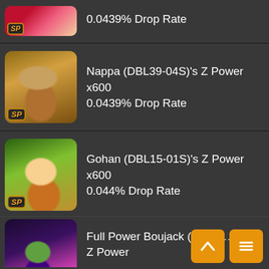0.0439% Drop Rate (partial row, character SP)
Nappa (DBL39-04S)'s Z Power x600
0.0439% Drop Rate
Gohan (DBL15-01S)'s Z Power x600
0.044% Drop Rate
Vegeta (DBL14-01S)'s Z Power x600
0.044% Drop Rate
Full Power Boujack (DBL1...)'s Z Power (partial)